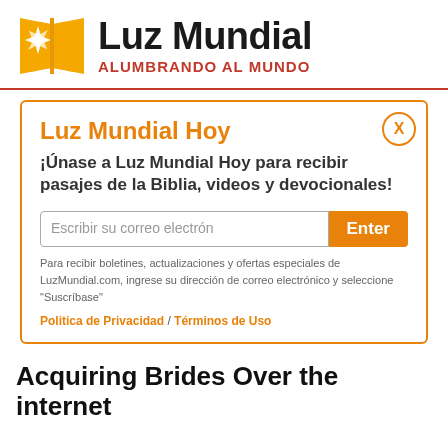[Figure (logo): Luz Mundial logo: yellow book-shaped icon with white starburst, text 'Luz Mundial' in black bold and 'ALUMBRANDO AL MUNDO' in red]
[Figure (screenshot): Popup dialog box with orange border. Title 'Luz Mundial Hoy' in orange. Body text in bold: '¡Únase a Luz Mundial Hoy para recibir pasajes de la Biblia, videos y devocionales!' Email input field with placeholder 'Escribir su correo electrón' and orange 'Enter' button. Small disclaimer text. Links: 'Politica de Privacidad / Términos de Uso']
Acquiring Brides Over the internet